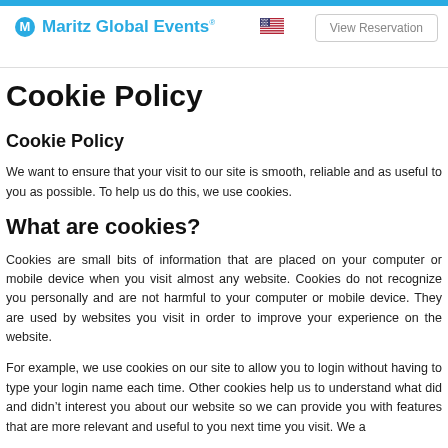Maritz Global Events | View Reservation
Cookie Policy
Cookie Policy
We want to ensure that your visit to our site is smooth, reliable and as useful to you as possible. To help us do this, we use cookies.
What are cookies?
Cookies are small bits of information that are placed on your computer or mobile device when you visit almost any website. Cookies do not recognize you personally and are not harmful to your computer or mobile device. They are used by websites you visit in order to improve your experience on the website.
For example, we use cookies on our site to allow you to login without having to type your login name each time. Other cookies help us to understand what did and didn't interest you about our website so we can provide you with features that are more relevant and useful to you next time you visit. We a